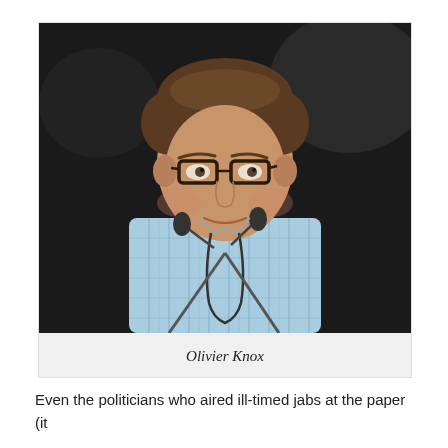[Figure (photo): A man wearing glasses and a light blue plaid shirt stands at a podium with microphones in front of him, speaking at an event. The background is dark.]
Olivier Knox
Even the politicians who aired ill-timed jabs at the paper (it